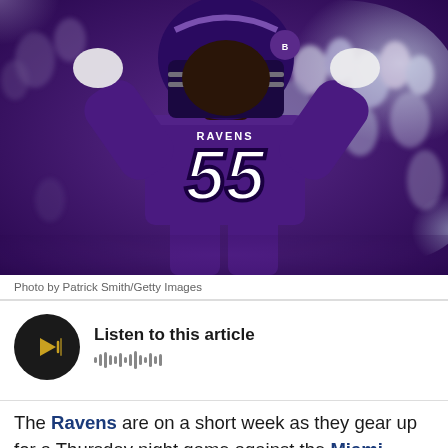[Figure (photo): Baltimore Ravens player #55 in purple jersey with hands raised to helmet on the field, crowd blurred in background]
Photo by Patrick Smith/Getty Images
Listen to this article
The Ravens are on a short week as they gear up for a Thursday night game against the Miami Dolphins